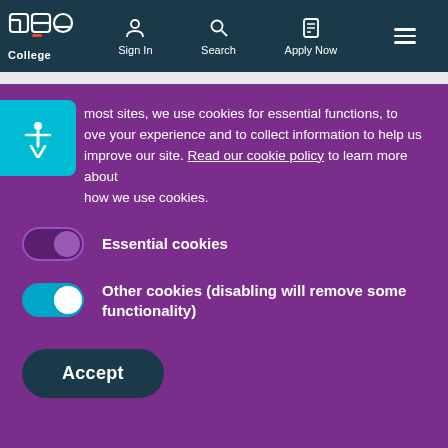CSP College — Sign In | Search | Apply Now
Like most sites, we use cookies for essential functions, to improve your experience and to collect information to help us improve our site. Read our cookie policy to learn more about how we use cookies.
Essential cookies
Other cookies (disabling will remove some functionality)
Accept